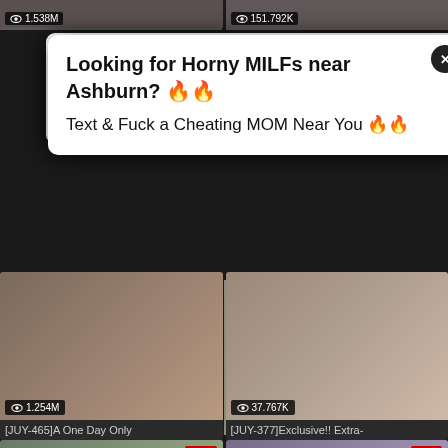[Figure (screenshot): Top partial row of two video thumbnail cards with view counts 1.538M and 151.792K]
[Figure (screenshot): Popup advertisement: Looking for Horny MILFs near Ashburn? Text & Fuck a Cheating MOM Near You]
[Figure (screenshot): Video card [JUY-465]A One Day Only with 1.254M views]
[Figure (screenshot): Video card [JUY-377]Exclusive!! Extra- with 37.767K views]
[Figure (screenshot): Video card [JUFD-947]Amazing with 1.005M views, HD badge]
[Figure (screenshot): Video card [HBAD-461]A Newly- with 684.071K views, HD badge]
[Figure (screenshot): Bottom partial row of two video thumbnail cards with HD badges]